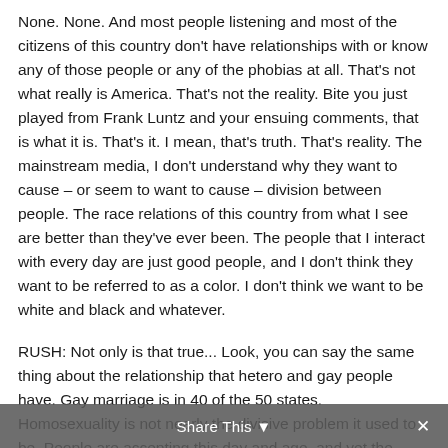None. None. And most people listening and most of the citizens of this country don't have relationships with or know any of those people or any of the phobias at all. That's not what really is America. That's not the reality. Bite you just played from Frank Luntz and your ensuing comments, that is what it is. That's it. I mean, that's truth. That's reality. The mainstream media, I don't understand why they want to cause – or seem to want to cause – division between people. The race relations of this country from what I see are better than they've ever been. The people that I interact with every day are just good people, and I don't think they want to be referred to as a color. I don't think we want to be white and black and whatever.
RUSH: Not only is that true... Look, you can say the same thing about the relationship that hetero and gay people have. Gay marriage is in 40 of the 50 states. Homosexuality is not nearly the divisive problem it used to be. People are accepting this day and age, and yet the media's out trying to make the claim. You can find, if you
Share This ▼  ✕